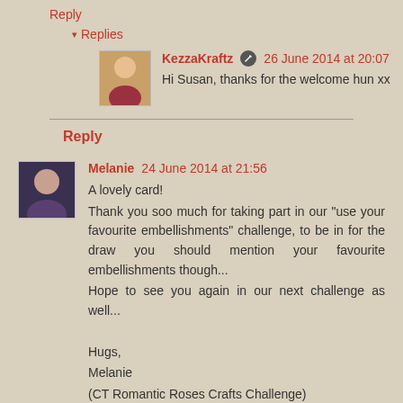Reply
▾ Replies
KezzaKraftz 26 June 2014 at 20:07
Hi Susan, thanks for the welcome hun xx
Reply
Melanie 24 June 2014 at 21:56
A lovely card!
Thank you soo much for taking part in our "use your favourite embellishments" challenge, to be in for the draw you should mention your favourite embellishments though...
Hope to see you again in our next challenge as well...

Hugs,
Melanie
(CT Romantic Roses Crafts Challenge)